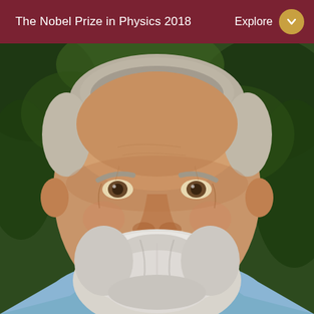The Nobel Prize in Physics 2018   Explore
[Figure (photo): Portrait photo of an elderly man with white beard and white hair, smiling warmly. He is wearing a light blue collared shirt. The background shows blurred green foliage/trees outdoors.]